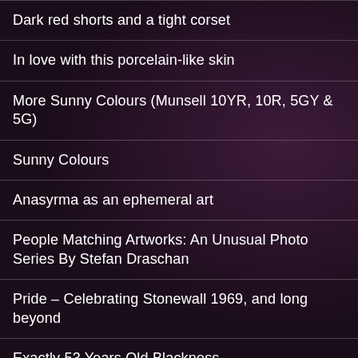Dark red shorts and a tight corset
In love with this porcelain-like skin
More Sunny Colours (Munsell 10YR, 10R, 5GY & 5G)
Sunny Colours
Anasyrma as an ephemeral art
People Matching Artworks: An Unusual Photo Series By Stefan Draschan
Pride – Celebrating Stonewall 1969, and long beyond
Exactly 53 Years Old Blackness
LGBTIQ+ REFUGE & HELP